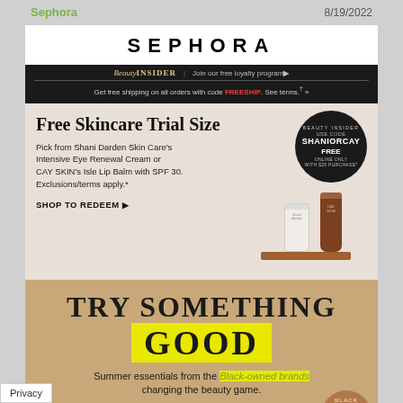Sephora  8/19/2022
SEPHORA
Beauty INSIDER | Join our free loyalty program▶
Get free shipping on all orders with code FREESHIP. See terms.† »
Free Skincare Trial Size
Pick from Shani Darden Skin Care's Intensive Eye Renewal Cream or CAY SKIN's Isle Lip Balm with SPF 30. Exclusions/terms apply.*
SHOP TO REDEEM ▶
[Figure (other): Circle badge: BEAUTY INSIDER USE CODE SHANIORCAY FREE ONLINE ONLY WITH $25 PURCHASE*]
[Figure (photo): Two skincare product tubes on a wooden shelf: white tube (Shani Darden) and brown tube (CAY SKIN)]
TRY SOMETHING GOOD
Summer essentials from the Black-owned brands changing the beauty game.
SHOP NOW ▶
[Figure (illustration): Black Owned badge - circular brown badge with bear icon]
[Figure (photo): Green plant leaves in bottom left corner]
Privacy